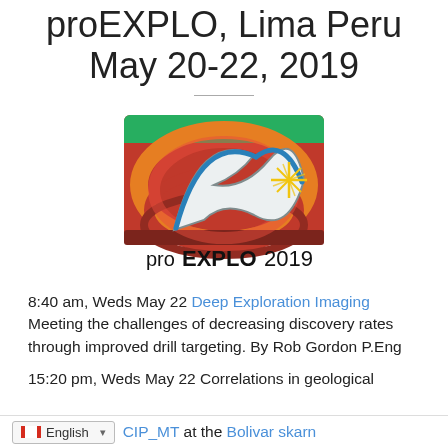proEXPLO, Lima Peru May 20-22, 2019
[Figure (logo): proEXPLO 2019 logo with boomerang shape and geological imagery]
8:40 am, Weds May 22 Deep Exploration Imaging Meeting the challenges of decreasing discovery rates through improved drill targeting. By Rob Gordon P.Eng
15:20 pm, Weds May 22 Correlations in geological CIP_MT at the Bolivar skarn
English